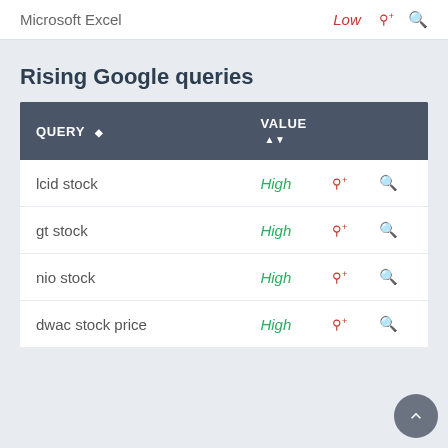Microsoft Excel   Low
Rising Google queries
| QUERY | VALUE |
| --- | --- |
| lcid stock | High |
| gt stock | High |
| nio stock | High |
| dwac stock price | High |